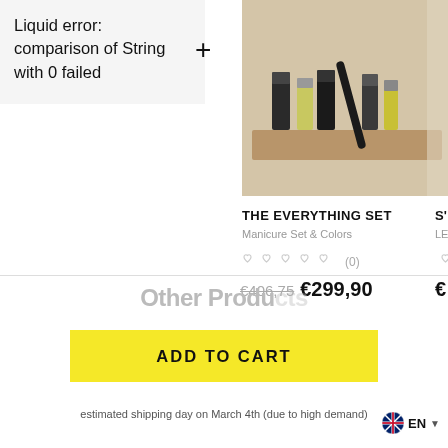Liquid error: comparison of String with 0 failed
[Figure (photo): Manicure set products arranged on a beige/tan surface — nail tools, small bottles of nail polish and accessories.]
THE EVERYTHING SET
Manicure Set & Colors
(0)
€406,75 €299,90
Other Products
ADD TO CART
estimated shipping day on March 4th (due to high demand)
EN